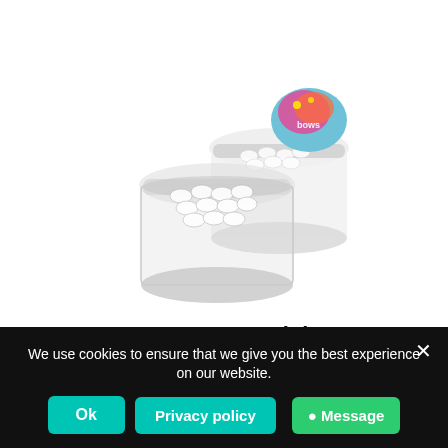[Figure (photo): Two clear plastic mini pots filled with white Rainbows® candies/mints, with a colorful branded label/tag visible on top of the back pot. White background.]
Eco Range – Eco Mini Pot – Rainbows®
Add to basket
We use cookies to ensure that we give you the best experience on our website.
Ok
Privacy policy
Message